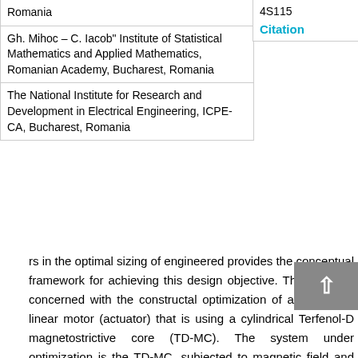| Romania | 4S115 |
| Gh. Mihoc – C. Iacob" Institute of Statistical Mathematics and Applied Mathematics, Romanian Academy, Bucharest, Romania | Citation |
| The National Institute for Research and Development in Electrical Engineering, ICPE-CA, Bucharest, Romania |  |
rs in the optimal sizing of engineered provides the conceptual framework for achieving this design objective. This paper is concerned with the constructal optimization of a small size linear motor (actuator) that is using a cylindrical Terfenol-D magnetostrictive core (TD-MC). The system under optimization is the TD-MC, subjected to magnetic field and the mechanical stress produced by the inverse Villari effect. The two phenomena are coupled, which makes the optimization problem more difficult. The TD-MC (material) structure is a design input data, therefore the only degree of freedom in morphing the active core is its shape.
We present a mathematical model that describes the electromagnetic field – structure interactions that is used for numerical simulations aimed at identifying the optimal shape for the active MC. Both no-load and load steady